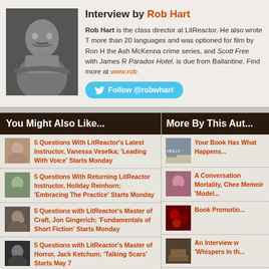Interview by Rob Hart
[Figure (photo): Black and white photo of Rob Hart, a man with a mustache, arms crossed]
Rob Hart is the class director at LitReactor. He also wrote T more than 20 languages and was optioned for film by Ron H the Ash McKenna crime series, and Scott Free with James R Paradox Hotel, is due from Ballantine. Find more at www.rob
Follow @robwhart
You Might Also Like...
5 Questions With LitReactor's Latest Instructor, Vanessa Veselka; 'Leading With Voice' Starts Monday
5 Questions With Returning LitReactor Instructor, Holiday Reinhorn; 'Embracing The Practice' Starts Monday
5 Questions with LitReactor's Master of Craft, Jon Gingerich; 'Fundamentals of Short Fiction' Starts Monday
5 Questions with LitReactor's Master of Horror, Jack Ketchum; 'Talking Scars' Starts May 7
5 Questions with LitReactor's Christopher D... 'Practice...' Starts Monday
More By This Autho...
Your Book Has What Happens...
A Conversation Mortality, Chee Memoir 'Model...
Book Promotio...
An Interview w 'Whispers in th...
Rob Hart Crow Warehouse' a Process, and w...